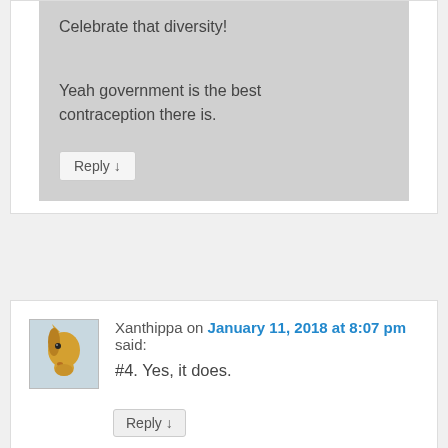Celebrate that diversity!
Yeah government is the best contraception there is.
Reply ↓
Xanthippa on January 11, 2018 at 8:07 pm said:
[Figure (illustration): Avatar image of a golden horse head on light blue background]
#4. Yes, it does.
Reply ↓